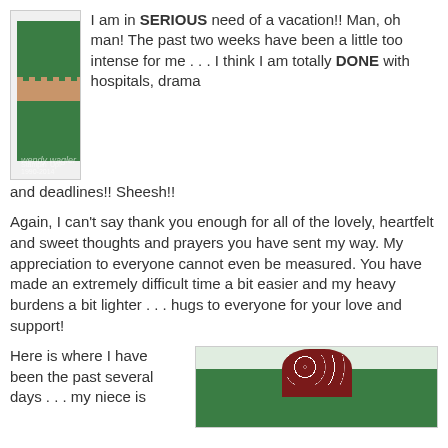[Figure (photo): A handmade green greeting card with a tan stripe, scalloped edges, a circular monogram badge with brown border, and a polka-dot ribbon. Watermark reads 'wendy wagler' and a stamp date.]
I am in SERIOUS need of a vacation!! Man, oh man! The past two weeks have been a little too intense for me . . . I think I am totally DONE with hospitals, drama and deadlines!! Sheesh!!
Again, I can't say thank you enough for all of the lovely, heartfelt and sweet thoughts and prayers you have sent my way. My appreciation to everyone cannot even be measured. You have made an extremely difficult time a bit easier and my heavy burdens a bit lighter . . . hugs to everyone for your love and support!
Here is where I have been the past several days . . . my niece is
[Figure (photo): Bottom portion of a handmade green card with scalloped top edge and a dark red decorative shape with white polka dots at the top center, against a light background.]